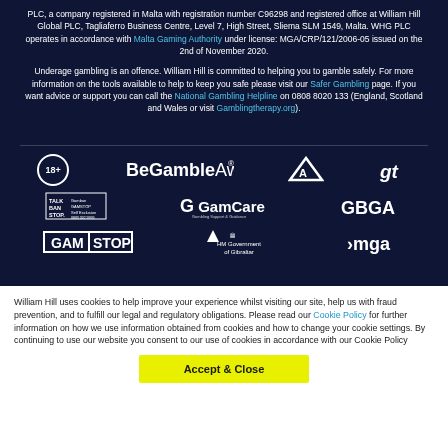PLC, a company registered in Malta with registration number C96298 and registered office at William Hill Global PLC, Tagliaferro Business Centre, Level 7, High Street, Sliema SLM 1549, Malta. WHG PLC operates in accordance with Malta Gaming Authority under license: MGA/CRP/121/2006-05 issued on the 2nd of November 2020.
Underage gambling is an offence. William Hill is committed to helping you to gamble safely. For more information on the tools available to help to keep you safe please visit our Safer Gambling page. If you want advice or support you can call the National Gambling Helpline on 0808 8020 133 (England, Scotland and Wales or visit Gamblingtherapy.org).
[Figure (logo): Row of responsible gambling logos: 18+, BeGambleAware.org, GamingAssociation, gt, TalkBanStop, GamCare, GBGA, GamStop, HM Government of Gibraltar, MGA]
William Hill uses cookies to help improve your experience whilst visiting our site, help us with fraud prevention, and to fulfill our legal and regulatory obligations. Please read our Cookie Policy for further information on how we use information obtained from cookies and how to change your cookie settings. By continuing to use our website you consent to our use of cookies in accordance with our Cookie Policy